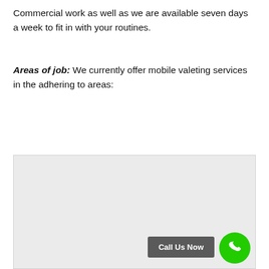Commercial work as well as we are available seven days a week to fit in with your routines.
Areas of job: We currently offer mobile valeting services in the adhering to areas:
[Figure (map): Gray map placeholder area with a 'Call Us Now' button and green phone circle button in the bottom right corner.]